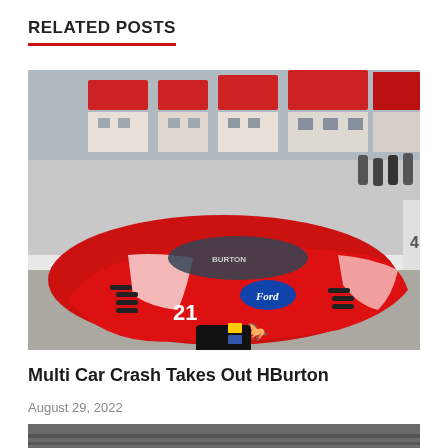RELATED POSTS
[Figure (photo): NASCAR Ford Mustang race car number 21 with red and white livery (Burton) in pit lane area, with red-accented building in background and spectators visible]
Multi Car Crash Takes Out HBurton
August 29, 2022
[Figure (photo): Partial view of a dark/grayscale racing track or road surface]